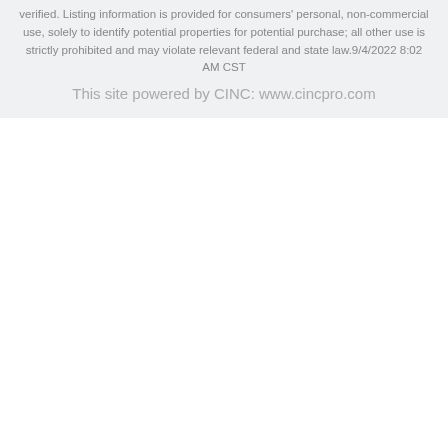verified. Listing information is provided for consumers' personal, non-commercial use, solely to identify potential properties for potential purchase; all other use is strictly prohibited and may violate relevant federal and state law.9/4/2022 8:02 AM CST
This site powered by CINC: www.cincpro.com